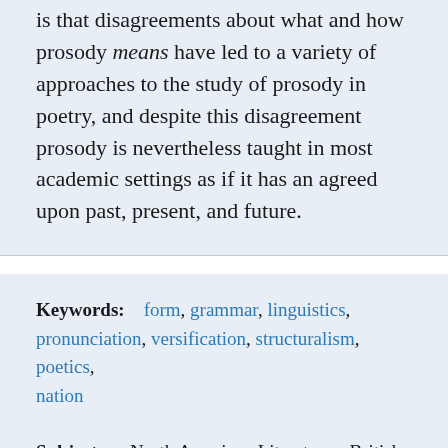is that disagreements about what and how prosody means have led to a variety of approaches to the study of prosody in poetry, and despite this disagreement prosody is nevertheless taught in most academic settings as if it has an agreed upon past, present, and future.
Keywords: form, grammar, linguistics, pronunciation, versification, structuralism, poetics, nation
Subjects: North American Literatures, British and Irish Literatures, Enlightenment and Early Modern (1600-1800), 19th Century (1800-1900), 20th and 21st